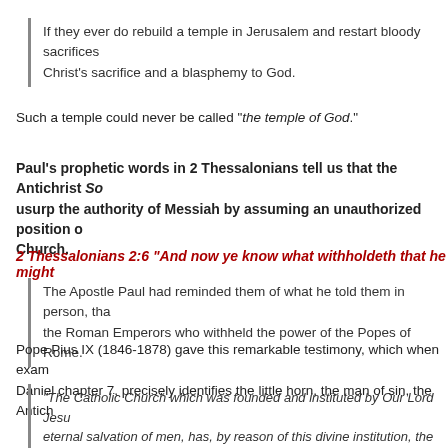If they ever do rebuild a temple in Jerusalem and restart bloody sacrifices Christ's sacrifice and a blasphemy to God.
Such a temple could never be called “the temple of God.”
Paul’s prophetic words in 2 Thessalonians tell us that the Antichrist So usurp the authority of Messiah by assuming an unauthorized position of Church.
2 Thessalonians 2:6 “And now ye know what withholdeth that he might
The Apostle Paul had reminded them of what he told them in person, tha the Roman Emperors who withheld the power of the Popes of Rome.
Pope Pius IX (1846-1878) gave this remarkable testimony, which when exam Daniel chapter 7, precisely identifies the little horn, the man of sin, the Antich
“The Catholic Church which was founded and instituted by Our Lord Jesu eternal salvation of men, has, by reason of this divine institution, the form Therefore, she must possess liberty such that she cannot be subject to a execution of her sacred ministry.